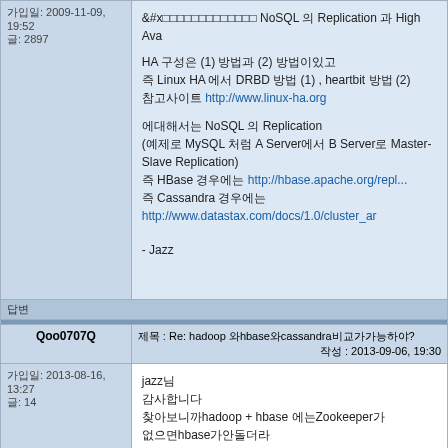| 가입일: 2009-11-09, 19:52
글: 2897 | 에서는 NoSQL 의 Replication 과 High Ava...
HA 구성은 (1) 방법과 (2) 방법이있고
즉 Linux HA 에서 DRBD 방법(1) , heartbit 방법 (2)
참고사이트 http://www.linux-ha.org

에대해서는 NoSQL 의 Replication
(예제로 MySQL 처럼 A Server에서 B Server로 Master-Slave Replication)
즉 HBase 경우에는 http://hbase.apache.org/repl...
즉 Cassandra 경우에는
http://www.datastax.com/docs/1.0/cluster_ar

- Jazz |
답변
| Qoo0707Q | 제목 : Re: hadoop 와hbase와cassandra비교가가능하야?
작성 : 2013-09-06, 19:30 |
| --- | --- |
| 가입일: 2013-08-16, 13:27
글: 14 | jazz님
감사합니다
찾아보니까hadoop + hbase 에는Zookeeper가
없으면hbase가안돌더라 |